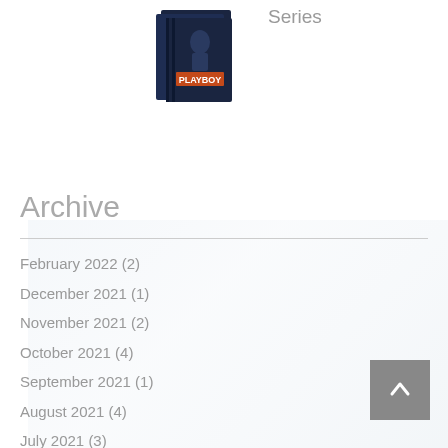[Figure (illustration): Book cover image showing a box set of books titled PLAYBOY series, dark blue covers with a man in a suit]
Series
Archive
February 2022 (2)
December 2021 (1)
November 2021 (2)
October 2021 (4)
September 2021 (1)
August 2021 (4)
July 2021 (3)
June 2021 (4)
April 2021 (3)
March 2021 (4)
February 2021 (5)
January 2021 (3)